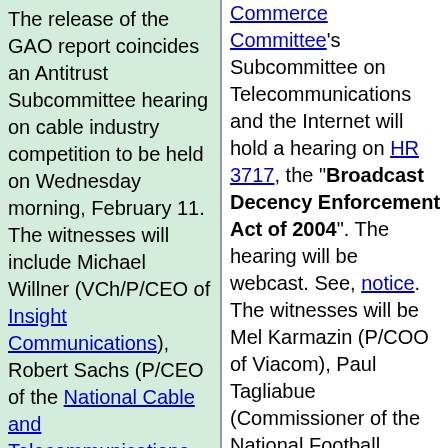The release of the GAO report coincides an Antitrust Subcommittee hearing on cable industry competition to be held on Wednesday morning, February 11. The witnesses will include Michael Willner (VCh/P/CEO of Insight Communications), Robert Sachs (P/CEO of the National Cable and Telecommunications Association), Mark Cooper (Consumer Federation of America), Scott Cleland (CEO of Precursor), Rodger Johnson (CEO of Knology), and Coralie Wilson (National Association of Telecommunications Officers and Advisors).
The report begins with the statement that "In the past few years, a new kind of wire-based provider -- typically known as a broadband service provider
Commerce Committee's Subcommittee on Telecommunications and the Internet will hold a hearing on HR 3717, the "Broadcast Decency Enforcement Act of 2004". The hearing will be webcast. See, notice. The witnesses will be Mel Karmazin (P/COO of Viacom), Paul Tagliabue (Commissioner of the National Football League), Michael Powell (FCC Chairman), Kathleen Abernathy (FCC Commissioner), Jonathan Adelstein (FCC Commissioner), Michael Copps (FCC Commissioner), Kevin Martin (FCC Commissioner), and Harry Pappas (Ch/CEO of Pappas Telecasting Companies). Press contact: Ken Johnson or Jon Trinn at 202-225-5735.